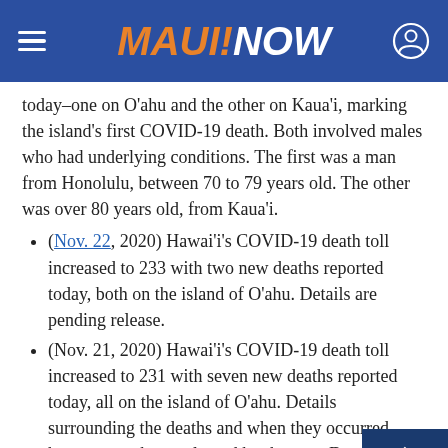MAUI NOW
today–one on O'ahu and the other on Kaua'i, marking the island's first COVID-19 death. Both involved males who had underlying conditions. The first was a man from Honolulu, between 70 to 79 years old. The other was over 80 years old, from Kaua'i.
(Nov. 22, 2020) Hawai'i's COVID-19 death toll increased to 233 with two new deaths reported today, both on the island of O'ahu. Details are pending release.
(Nov. 21, 2020) Hawai'i's COVID-19 death toll increased to 231 with seven new deaths reported today, all on the island of O'ahu. Details surrounding the deaths and when they occurred have not yet been released by the state Department of Health.